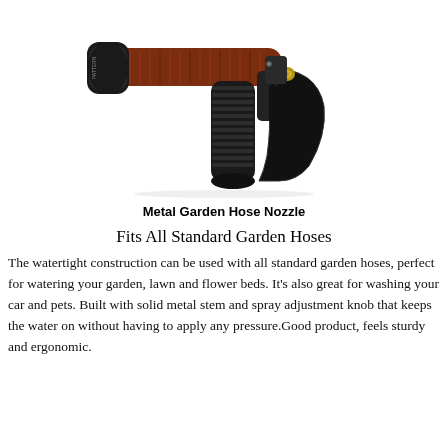[Figure (photo): A metal garden hose nozzle spray gun with a dark brown/wood-grain barrel, black rubber grip handle, black trigger mechanism, and a gold/brass knob visible on the side. The nozzle head has a rotary pattern selector.]
Metal Garden Hose Nozzle
Fits All Standard Garden Hoses
The watertight construction can be used with all standard garden hoses, perfect for watering your garden, lawn and flower beds. It's also great for washing your car and pets. Built with solid metal stem and spray adjustment knob that keeps the water on without having to apply any pressure.Good product, feels sturdy and ergonomic.